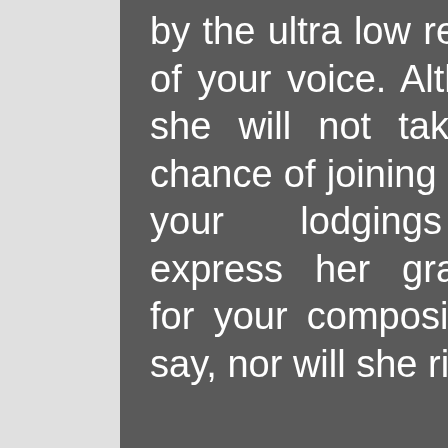by the ultra low register of your voice. Although she will not take the chance of joining you in your lodgings to express her gratitude for your composition, I say, nor will she risk